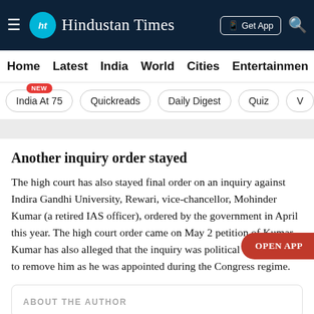Hindustan Times
Home | Latest | India | World | Cities | Entertainment
India At 75 | Quickreads | Daily Digest | Quiz
Another inquiry order stayed
The high court has also stayed final order on an inquiry against Indira Gandhi University, Rewari, vice-chancellor, Mohinder Kumar (a retired IAS officer), ordered by the government in April this year. The high court order came on May 2 petition of Kumar. Kumar has also alleged that the inquiry was political victimisation to remove him as he was appointed during the Congress regime.
ABOUT THE AUTHOR